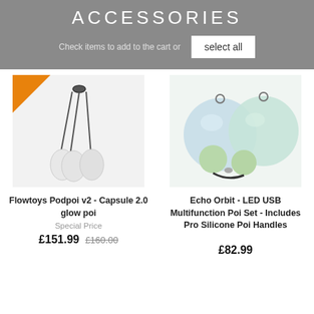ACCESSORIES
Check items to add to the cart or   select all
[Figure (photo): Flowtoys Podpoi v2 - Capsule 2.0 glow poi - silver teardrop shaped poi with black connector hardware hanging from a clasp, on a white background. Orange sale badge in top-left corner.]
Flowtoys Podpoi v2 - Capsule 2.0 glow poi
Special Price
£151.99 £160.00
[Figure (photo): Echo Orbit - LED USB Multifunction Poi Set - Includes Pro Silicone Poi Handles - glowing spherical LED poi with silicone handles on white background.]
Echo Orbit - LED USB Multifunction Poi Set - Includes Pro Silicone Poi Handles
£82.99